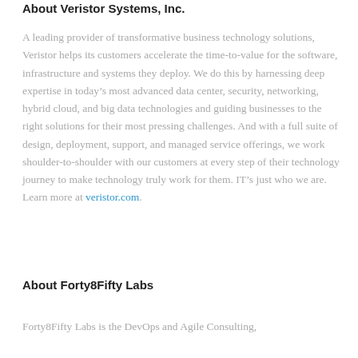About Veristor Systems, Inc.
A leading provider of transformative business technology solutions, Veristor helps its customers accelerate the time-to-value for the software, infrastructure and systems they deploy. We do this by harnessing deep expertise in today’s most advanced data center, security, networking, hybrid cloud, and big data technologies and guiding businesses to the right solutions for their most pressing challenges. And with a full suite of design, deployment, support, and managed service offerings, we work shoulder-to-shoulder with our customers at every step of their technology journey to make technology truly work for them. IT’s just who we are. Learn more at veristor.com.
About Forty8Fifty Labs
Forty8Fifty Labs is the DevOps and Agile Consulting,